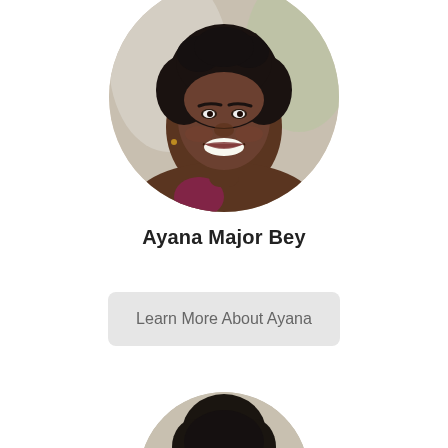[Figure (photo): Circular headshot of a smiling woman with natural curly hair, Ayana Major Bey]
Ayana Major Bey
Learn More About Ayana
[Figure (photo): Circular headshot of a second person, partially visible at bottom of page]